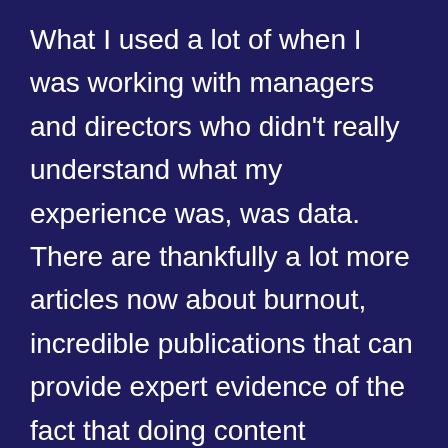What I used a lot of when I was working with managers and directors who didn't really understand what my experience was, was data. There are thankfully a lot more articles now about burnout, incredible publications that can provide expert evidence of the fact that doing content moderation, or being a frontline customer service person is really taxing. I definitely passive-aggressively emailed a few things to HR about like the mental health toll of XYZ, so it can be helpful when you're positioning it as, this is something that is really standard in the industry and in the field that I work in, and it's not just me being